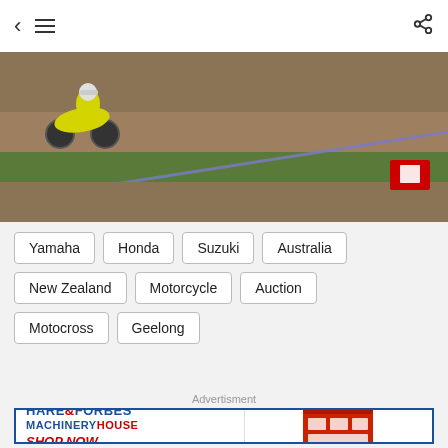[Figure (photo): Motocross rider on a yellow dirt bike riding across a dirt track with grass and track markers visible]
Yamaha
Honda
Suzuki
Australia
New Zealand
Motorcycle
Auction
Motocross
Geelong
Advertisment
[Figure (photo): Hare & Forbes MachineryHouse advertisement banner with logo and tool kit image]